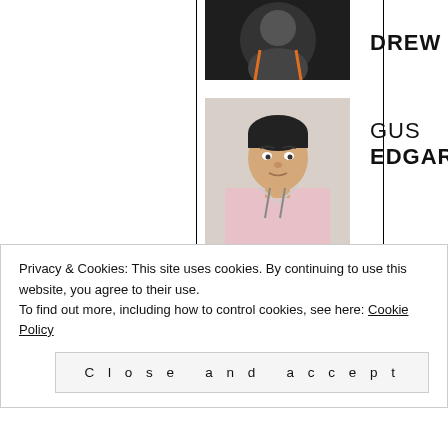[Figure (photo): Partial photo of person named Drew, cut off at top]
DREW
[Figure (photo): Photo of Gus Edgar, young man in light pink shirt]
GUS EDGAR
[Figure (photo): Photo of Olivia Neilson, woman with shoulder-length hair, smiling]
OLIVIA NEILSON
[Figure (photo): Photo of Joel Whitaker, young man with fringe and mustache]
JOEL WHITAKER
Privacy & Cookies: This site uses cookies. By continuing to use this website, you agree to their use.
To find out more, including how to control cookies, see here: Cookie Policy
Close and accept